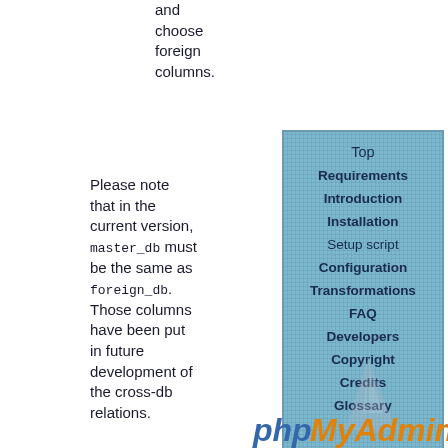and choose foreign columns.
Please note that in the current version, master_db must be the same as foreign_db. Those columns have been put in future development of the cross-db relations.
[Figure (other): Navigation sidebar box with blue dotted/hatched background listing: Top, Requirements, Introduction, Installation, Setup script, Configuration, Transformations, FAQ, Developers, Copyright, Credits, Glossary]
$cfg['Servers'][$i]['table_info'] string
Since release 2.3.0 you can describe, in a special 'table_info'
[Figure (logo): phpMyAdmin logo with sailboat graphic and orange/blue text]